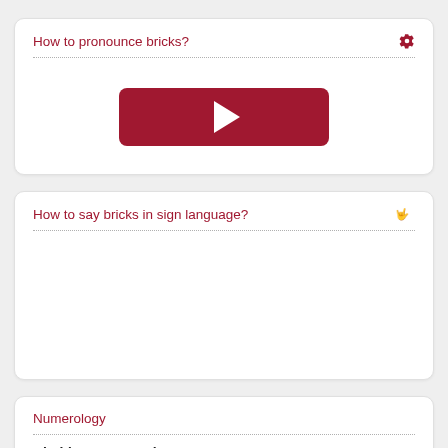How to pronounce bricks?
[Figure (other): A dark red/crimson rounded rectangle play button with a white triangle play icon in the center]
How to say bricks in sign language?
Numerology
Chaldean Numerology